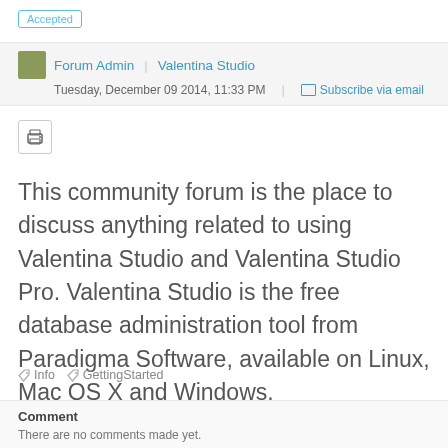Accepted
Forum Admin | Valentina Studio
Tuesday, December 09 2014, 11:33 PM | Subscribe via email
[Figure (other): Print button icon]
This community forum is the place to discuss anything related to using Valentina Studio and Valentina Studio Pro. Valentina Studio is the free database administration tool from Paradigma Software, available on Linux, Mac OS X and Windows.
Info  GettingStarted
Comment
There are no comments made yet.